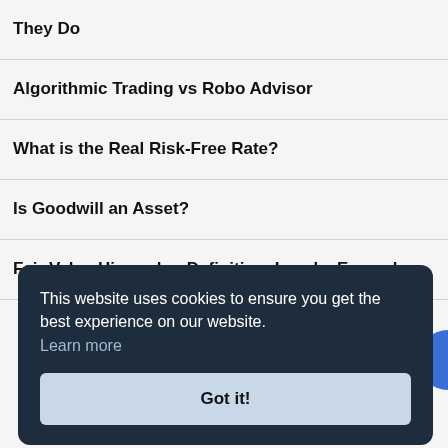They Do
Algorithmic Trading vs Robo Advisor
What is the Real Risk-Free Rate?
Is Goodwill an Asset?
Fair Value Hierarchy: Definition, Levels, Examples
This website uses cookies to ensure you get the best experience on our website. Learn more
Got it!